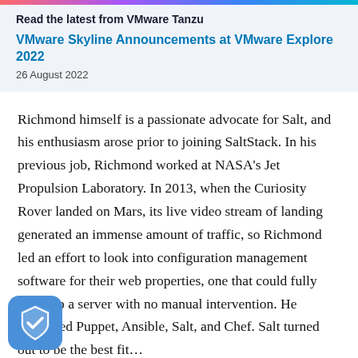Read the latest from VMware Tanzu
VMware Skyline Announcements at VMware Explore 2022
26 August 2022
Richmond himself is a passionate advocate for Salt, and his enthusiasm arose prior to joining SaltStack. In his previous job, Richmond worked at NASA’s Jet Propulsion Laboratory. In 2013, when the Curiosity Rover landed on Mars, its live video stream of landing generated an immense amount of traffic, so Richmond led an effort to look into configuration management software for their web properties, one that could fully stand up a server with no manual intervention. He compared Puppet, Ansible, Salt, and Chef. Salt turned out to be the best fit…